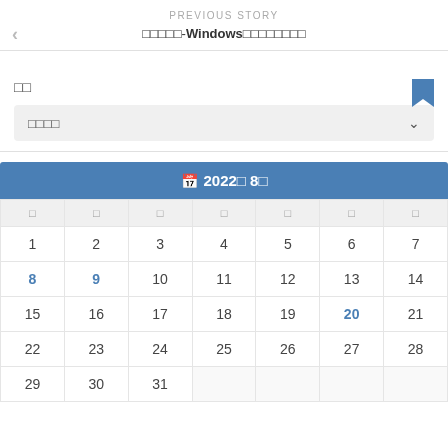PREVIOUS STORY
□□□□□-Windows□□□□□□□□□
□□
□□□□
[Figure (other): Calendar widget showing August 2022 with dates 1-28 visible, header in blue with calendar icon]
2022□ 8□